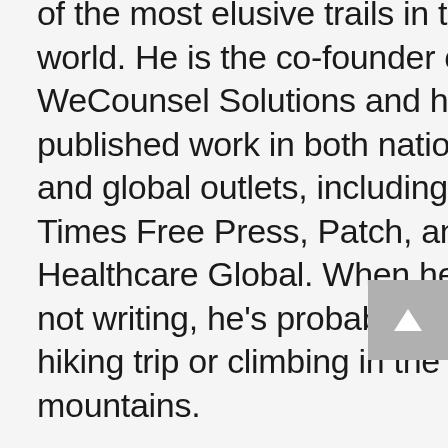of the most elusive trails in the world. He is the co-founder of WeCounsel Solutions and has published work in both national and global outlets, including the Times Free Press, Patch, and Healthcare Global. When he's not writing, he's probably on a hiking trip or climbing in the mountains.